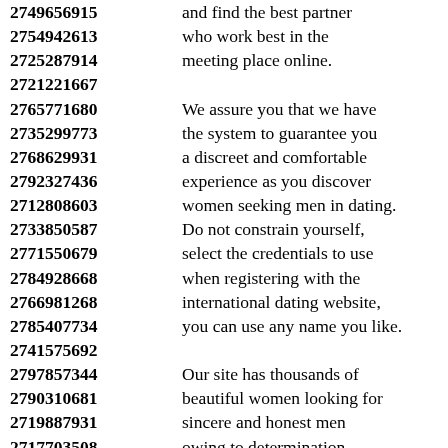2749656915 and find the best partner
2754942613 who work best in the
2725287914 meeting place online.
2721221667
2765771680 We assure you that we have
2735299773 the system to guarantee you
2768629931 a discreet and comfortable
2792327436 experience as you discover
2712808603 women seeking men in dating.
2733850587 Do not constrain yourself,
2771550679 select the credentials to use
2784928668 when registering with the
2766981268 international dating website,
2785407734 you can use any name you like.
2741575692
2797857344 Our site has thousands of
2790310681 beautiful women looking for
2719887931 sincere and honest men
2717703508 owing to determination
2730117228 to provide them with the best.
2728910949 It makes it simple for you to
2765747296 choose women who are
2776555750 looking for real men with
2788847185 the most potential to meet
2760943463 your desires and your needs.
2798808381 It is in the end...